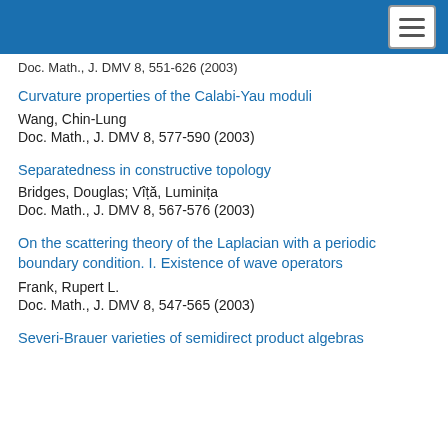Doc. Math., J. DMV 8, 551-626 (2003)
Curvature properties of the Calabi-Yau moduli
Wang, Chin-Lung
Doc. Math., J. DMV 8, 577-590 (2003)
Separatedness in constructive topology
Bridges, Douglas; Vîță, Luminița
Doc. Math., J. DMV 8, 567-576 (2003)
On the scattering theory of the Laplacian with a periodic boundary condition. I. Existence of wave operators
Frank, Rupert L.
Doc. Math., J. DMV 8, 547-565 (2003)
Severi-Brauer varieties of semidirect product algebras